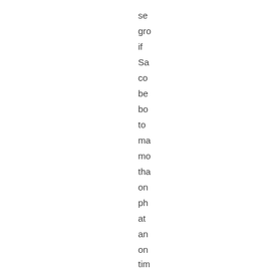se
gro
if
Sa
co
be
bo
to
ma
mo
tha
on
ph
at
an
on
tim